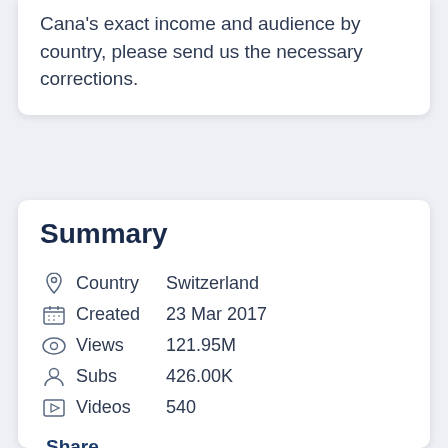Cana's exact income and audience by country, please send us the necessary corrections.
Summary
Country Switzerland
Created 23 Mar 2017
Views 121.95M
Subs 426.00K
Videos 540
Share